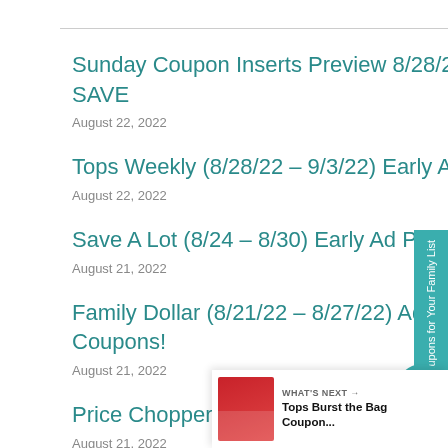Sunday Coupon Inserts Preview 8/28/22~ 3 Inserts: (1) P&G, (1) SmartSource & (1) SAVE
August 22, 2022
Tops Weekly (8/28/22 – 9/3/22) Early Ad Preview is live!
August 22, 2022
Save A Lot (8/24 – 8/30) Early Ad Preview
August 21, 2022
Family Dollar (8/21/22 – 8/27/22) Ad This week: Back to School Deals & Digital Coupons!
August 21, 2022
Price Chopper Weekly (8/21/22 – 8/27/22) Ad Preview is live
August 21, 2022
[Figure (infographic): Sidebar tab labeled 'Coupons for Your Family List' with heart icon and share button, count badge showing 20]
WHAT'S NEXT → Tops Burst the Bag Coupon...